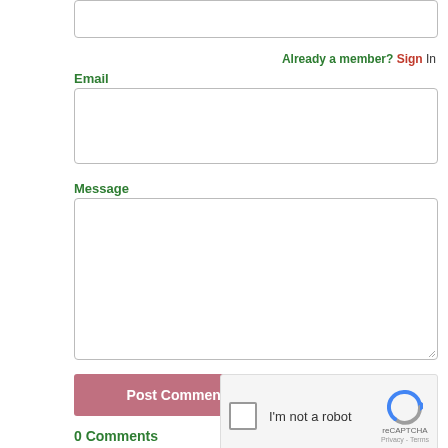[Figure (screenshot): A form field (text input box) at the top of the page, partially visible]
Already a member? Sign In
Email
[Figure (screenshot): Email input field, empty text box with rounded border]
Message
[Figure (screenshot): Message textarea, empty, with resize handle in bottom right]
[Figure (screenshot): reCAPTCHA widget with checkbox 'I'm not a robot' and Google reCAPTCHA logo with Privacy - Terms links]
[Figure (screenshot): Post Comment button, pink/rose colored]
0 Comments